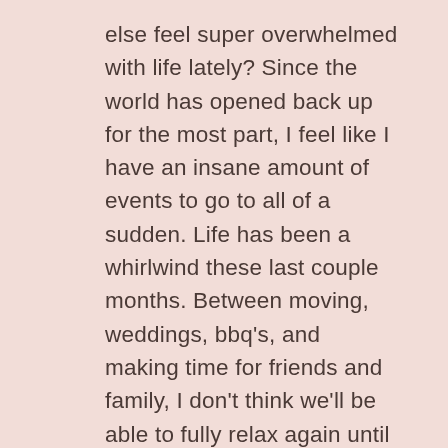else feel super overwhelmed with life lately? Since the world has opened back up for the most part, I feel like I have an insane amount of events to go to all of a sudden. Life has been a whirlwind these last couple months. Between moving, weddings, bbq's, and making time for friends and family, I don't think we'll be able to fully relax again until the fall. I'm someone who absolutely loathes being busy so as much as I'm excited to have some freedom back, I'm equally stressed about it all. I've gotten so used to sitting on my couch binge-watching TV shows that I feel like I don't know how to navigate the real world anymore and my social anxiety is at an all time high. This past weekend was the last